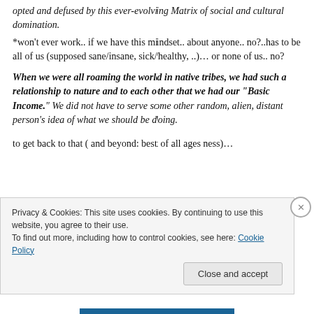opted and defused by this ever-evolving Matrix of social and cultural domination.
*won't ever work.. if we have this mindset.. about anyone.. no?..has to be all of us (supposed sane/insane, sick/healthy, ..)… or none of us.. no?
When we were all roaming the world in native tribes, we had such a relationship to nature and to each other that we had our “Basic Income.” We did not have to serve some other random, alien, distant person’s idea of what we should be doing.
to get back to that ( and beyond: best of all ages ness)…
Privacy & Cookies: This site uses cookies. By continuing to use this website, you agree to their use.
To find out more, including how to control cookies, see here: Cookie Policy